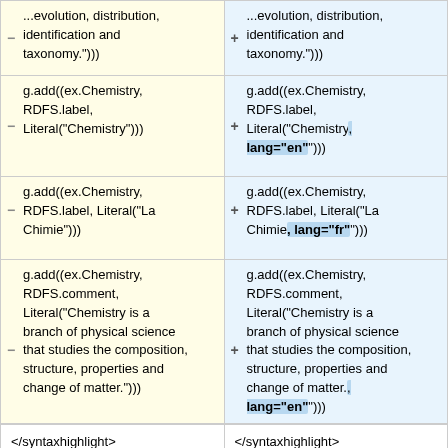| Left (before) | Right (after) |
| --- | --- |
| ...evolution, distribution, identification and taxonomy."))) | ...evolution, distribution, identification and taxonomy."))) |
| g.add((ex.Chemistry, RDFS.label, Literal("Chemistry"))) | g.add((ex.Chemistry, RDFS.label, Literal("Chemistry", lang="en"))) |
| g.add((ex.Chemistry, RDFS.label, Literal("La Chimie"))) | g.add((ex.Chemistry, RDFS.label, Literal("La Chimie", lang="fr"))) |
| g.add((ex.Chemistry, RDFS.comment, Literal("Chemistry is a branch of physical science that studies the composition, structure, properties and change of matter."))) | g.add((ex.Chemistry, RDFS.comment, Literal("Chemistry is a branch of physical science that studies the composition, structure, properties and change of matter.", lang="en"))) |
| </syntaxhighlight> | </syntaxhighlight> |